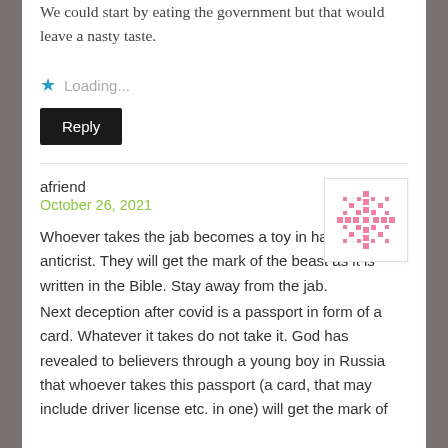We could start by eating the government but that would leave a nasty taste.
★ Loading...
Reply
afriend
October 26, 2021
[Figure (illustration): Pink pixel/avatar icon for user afriend]
Whoever takes the jab becomes a toy in hands of the anticrist. They will get the mark of the beast as it is written in the Bible. Stay away from the jab.
Next deception after covid is a passport in form of a card. Whatever it takes do not take it. God has revealed to believers through a young boy in Russia that whoever takes this passport (a card, that may include driver license etc. in one) will get the mark of